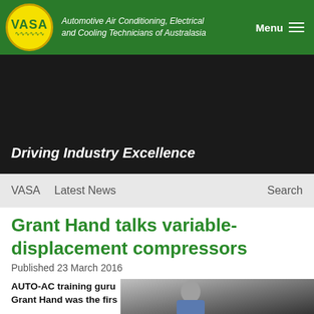[Figure (logo): VASA logo - yellow circular logo with VASA text and green header bar with tagline 'Automotive Air Conditioning, Electrical and Cooling Technicians of Australasia' and Menu button]
[Figure (photo): Dark hero banner area with green VASA website header]
Driving Industry Excellence
VASA   Latest News   Search
Grant Hand talks variable-displacement compressors
Published 23 March 2016
AUTO-AC training guru Grant Hand was the firs...
[Figure (photo): Photo of Grant Hand speaking at an event, wearing glasses and a blue jacket, with another person visible in background near a car engine bay]